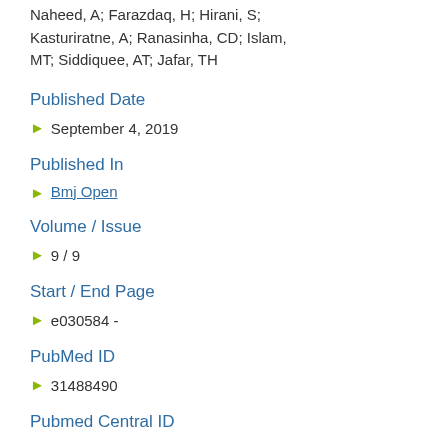Naheed, A; Farazdaq, H; Hirani, S; Kasturiratne, A; Ranasinha, CD; Islam, MT; Siddiquee, AT; Jafar, TH
Published Date
September 4, 2019
Published In
Bmj Open
Volume / Issue
9 / 9
Start / End Page
e030584 -
PubMed ID
31488490
Pubmed Central ID